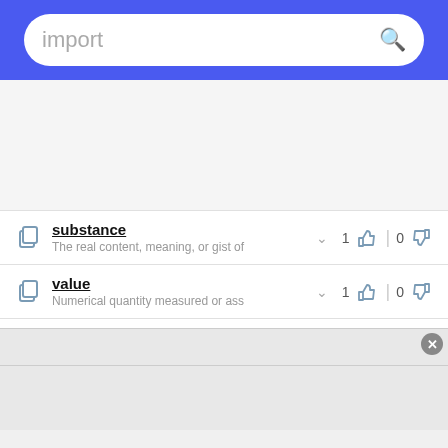import
substance — The real content, meaning, or gist of — 1 up, 0 down
value — Numerical quantity measured or ass — 1 up, 0 down
worth